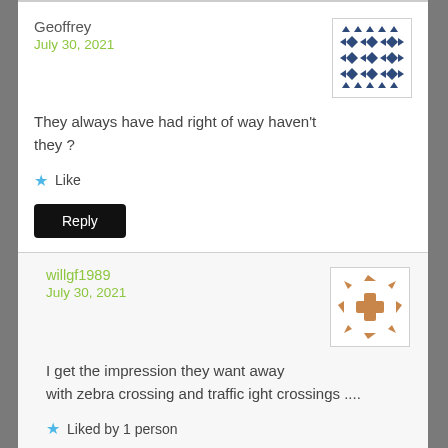Geoffrey
July 30, 2021
[Figure (illustration): Dark blue geometric avatar with diamond and arrow pattern]
They always have had right of way haven't they ?
★ Like
Reply
willgf1989
July 30, 2021
[Figure (illustration): Brown/tan geometric avatar with snowflake-like pattern]
I get the impression they want away with zebra crossing and traffic ight crossings ....
★ Liked by 1 person
Reply